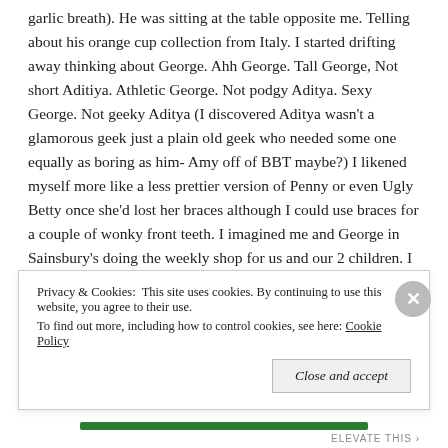garlic breath). He was sitting at the table opposite me. Telling about his orange cup collection from Italy. I started drifting away thinking about George. Ahh George. Tall George, Not short Aditiya. Athletic George. Not podgy Aditya. Sexy George. Not geeky Aditya (I discovered Aditya wasn't a glamorous geek just a plain old geek who needed some one equally as boring as him- Amy off of BBT maybe?) I likened myself more like a less prettier version of Penny or even Ugly Betty once she'd lost her braces although I could use braces for a couple of wonky front teeth. I imagined me and George in Sainsbury's doing the weekly shop for us and our 2 children. I imagined us going for a
Privacy & Cookies: This site uses cookies. By continuing to use this website, you agree to their use.
To find out more, including how to control cookies, see here: Cookie Policy